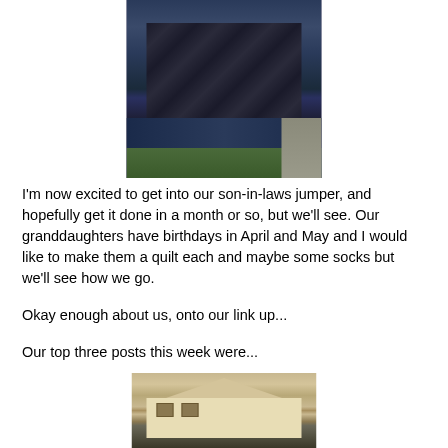[Figure (photo): Photo of a person wearing a navy blue top and dark patterned skirt/dress, standing outdoors on grass with a dirt path visible in the background]
I'm now excited to get into our son-in-laws jumper, and hopefully get it done in a month or so, but we'll see. Our granddaughters have birthdays in April and May and I would like to make them a quilt each and maybe some socks but we'll see how we go.
Okay enough about us, onto our link up...
Our top three posts this week were...
[Figure (photo): Old sepia-toned photograph of a house with a white exterior, trees in the foreground, and what appears to be a historic building or farmhouse]